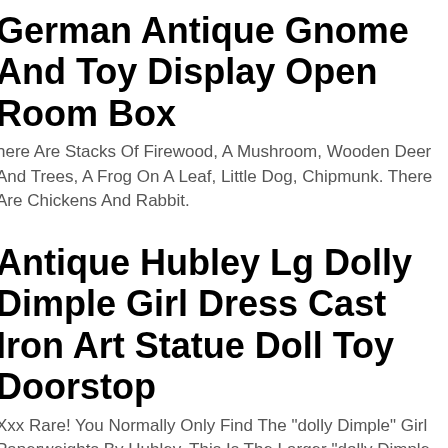German Antique Gnome And Toy Display Open Room Box
There Are Stacks Of Firewood, A Mushroom, Wooden Deer And Trees, A Frog On A Leaf, Little Dog, Chipmunk. There Are Chickens And Rabbit.
Antique Hubley Lg Dolly Dimple Girl Dress Cast Iron Art Statue Doll Toy Doorstop
Xxx Rare! You Normally Only Find The "dolly Dimple" Girl Paperweights By Hubley. This Is The Larger "dolly Dimple Girl" Doorstop By Hubley!"very Hard To Find!". She Was Made Long Ago By Most Talented Hubley Factory Artist!
Lego Star Wars 8039 Venator-class...